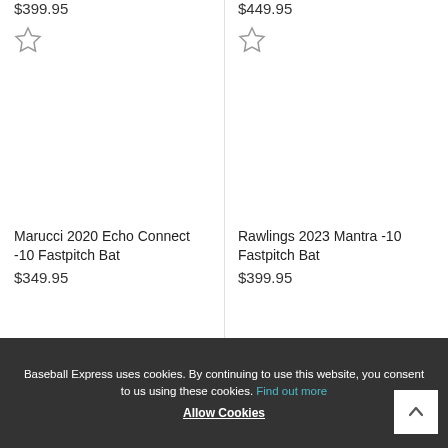$399.95
$449.95
[Figure (illustration): Star/favorite icon (unfilled) for left product]
[Figure (illustration): Star/favorite icon (unfilled) for right product]
Marucci 2020 Echo Connect -10 Fastpitch Bat
Rawlings 2023 Mantra -10 Fastpitch Bat
$349.95
$399.95
Baseball Express uses cookies. By continuing to use this website, you consent to us using these cookies. Find out more
Allow Cookies